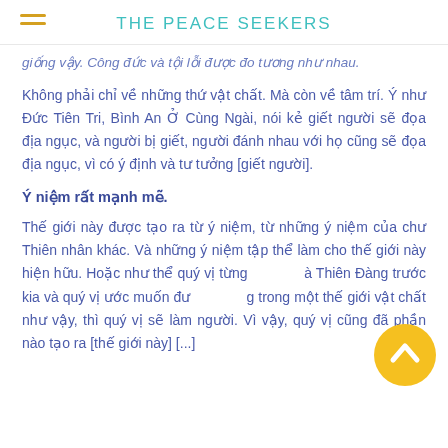THE PEACE SEEKERS
giống vậy. Công đức và tội lỗi được đo tương như nhau.
Không phải chỉ về những thứ vật chất. Mà còn về tâm trí. Ý như Đức Tiên Tri, Bình An Ở Cùng Ngài, nói kẻ giết người sẽ đọa địa ngục, và người bị giết, người đánh nhau với họ cũng sẽ đọa địa ngục, vì có ý định và tư tưởng [giết người].
Ý niệm rất mạnh mẽ.
Thế giới này được tạo ra từ ý niệm, từ những ý niệm của chư Thiên nhân khác. Và những ý niệm tập thể làm cho thế giới này hiện hữu. Hoặc như thể quý vị từng ở Thiên Đàng trước kia và quý vị ước muốn được sống trong một thế giới vật chất như vậy, thì quý vị sẽ làm người. Vì vậy, quý vị cũng đã phần nào tạo ra [thế giới này] [...]